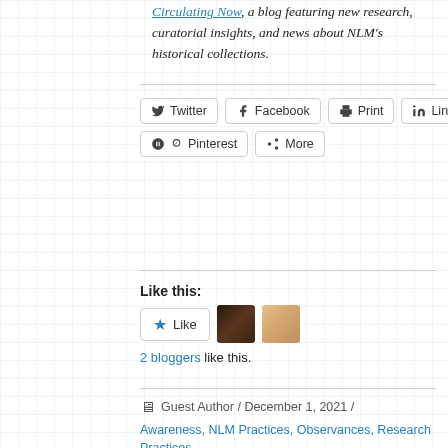Circulating Now, a blog featuring new research, curatorial insights, and news about NLM's historical collections.
[Figure (other): Social sharing buttons: Twitter, Facebook, Print, LinkedIn, Pinterest, More]
Like this:
[Figure (other): Like button with star icon, and two blogger avatar photos. 2 bloggers like this.]
2 bloggers like this.
Guest Author / December 1, 2021 / Awareness, NLM Practices, Observances, Research Practices